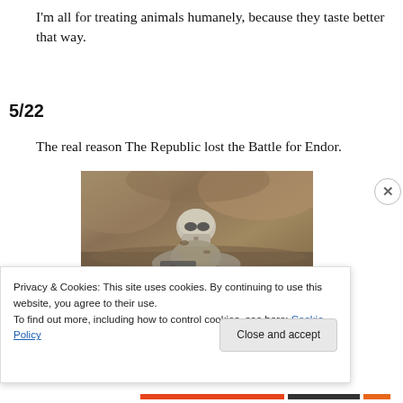I'm all for treating animals humanely, because they taste better that way.
5/22
The real reason The Republic lost the Battle for Endor.
[Figure (photo): A Star Wars Stormtrooper figure crawling through mud, covered in dirt, with rocky terrain in the background.]
Privacy & Cookies: This site uses cookies. By continuing to use this website, you agree to their use.
To find out more, including how to control cookies, see here: Cookie Policy